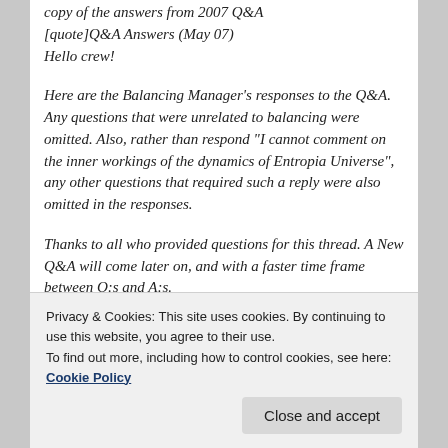copy of the answers from 2007 Q&A
[quote]Q&A Answers (May 07)
Hello crew!
Here are the Balancing Manager's responses to the Q&A. Any questions that were unrelated to balancing were omitted. Also, rather than respond "I cannot comment on the inner workings of the dynamics of Entropia Universe", any other questions that required such a reply were also omitted in the responses.
Thanks to all who provided questions for this thread. A New Q&A will come later on, and with a faster time frame between Q:s and A:s.
Post 2
Post 5
Privacy & Cookies: This site uses cookies. By continuing to use this website, you agree to their use.
To find out more, including how to control cookies, see here: Cookie Policy
Close and accept